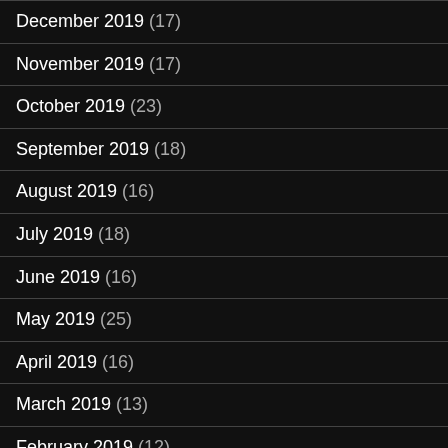December 2019 (17)
November 2019 (17)
October 2019 (23)
September 2019 (18)
August 2019 (16)
July 2019 (18)
June 2019 (16)
May 2019 (25)
April 2019 (16)
March 2019 (13)
February 2019 (12)
January 2019 (15)
December 2018 (17)